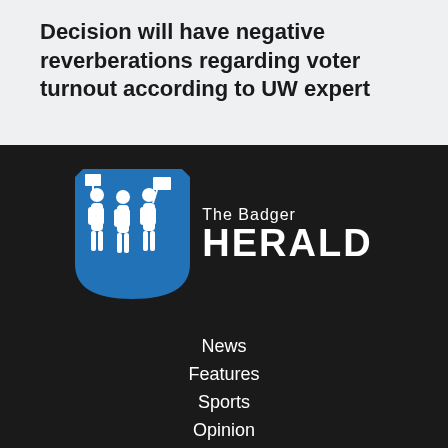Decision will have negative reverberations regarding voter turnout according to UW expert
[Figure (logo): The Badger Herald logo: blue shield with white silhouettes of protesters, next to text 'The Badger HERALD' in white]
News
Features
Sports
Opinion
ArtsEtc
Visuals
Banter
About
Staff